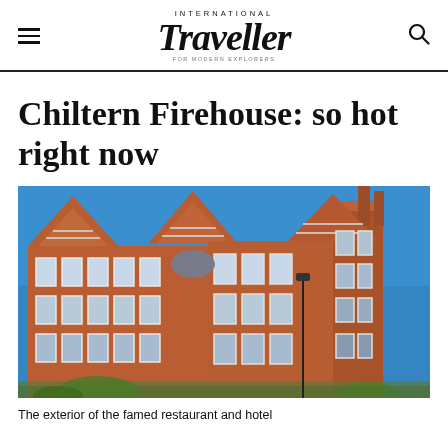International Traveller
Chiltern Firehouse: so hot right now
[Figure (photo): Exterior of the Chiltern Firehouse building — a red brick Victorian Gothic revival structure with ornate stepped gables, white-framed windows, and chimneys against a bright blue sky.]
The exterior of the famed restaurant and hotel